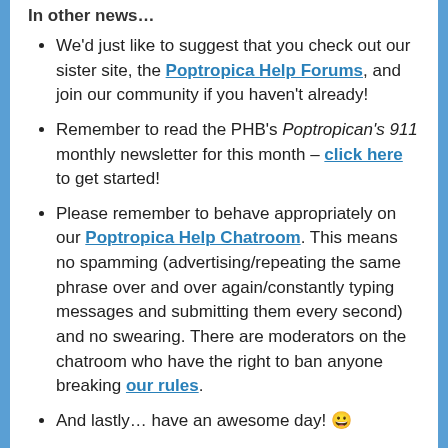In other news…
We'd just like to suggest that you check out our sister site, the Poptropica Help Forums, and join our community if you haven't already!
Remember to read the PHB's Poptropican's 911 monthly newsletter for this month – click here to get started!
Please remember to behave appropriately on our Poptropica Help Chatroom. This means no spamming (advertising/repeating the same phrase over and over again/constantly typing messages and submitting them every second) and no swearing. There are moderators on the chatroom who have the right to ban anyone breaking our rules.
And lastly… have an awesome day! 😀